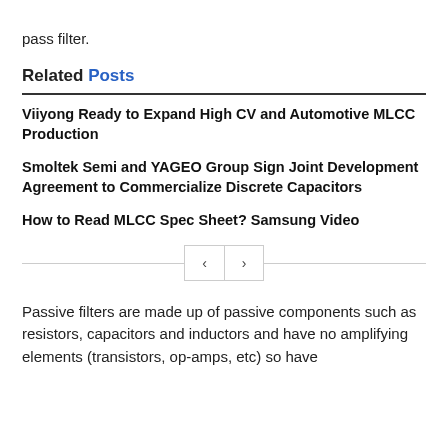pass filter.
Related Posts
Viiyong Ready to Expand High CV and Automotive MLCC Production
Smoltek Semi and YAGEO Group Sign Joint Development Agreement to Commercialize Discrete Capacitors
How to Read MLCC Spec Sheet? Samsung Video
Passive filters are made up of passive components such as resistors, capacitors and inductors and have no amplifying elements (transistors, op-amps, etc) so have